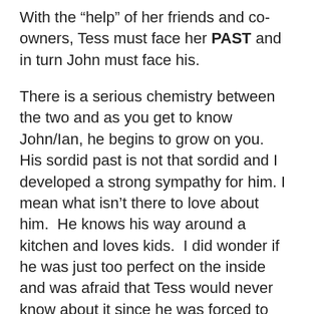With the “help” of her friends and co-owners, Tess must face her PAST and in turn John must face his.
There is a serious chemistry between the two and as you get to know John/Ian, he begins to grow on you.  His sordid past is not that sordid and I developed a strong sympathy for him. I mean what isn’t there to love about him.  He knows his way around a kitchen and loves kids.  I did wonder if he was just too perfect on the inside and was afraid that Tess would never know about it since he was forced to keep that a secret. But there is a twist in the plot and what seems impossible becomes just what Tessa wants but now for all the wrong reasons.  Vague? I